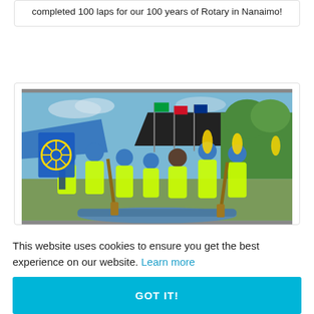completed 100 laps for our 100 years of Rotary in Nanaimo!
[Figure (photo): Group of people wearing bright yellow-green t-shirts and blue caps, holding paddles and a blue Rotary flag with the Rotary wheel logo, standing outdoors at what appears to be a dragon boat festival with colorful flags in the background.]
This website uses cookies to ensure you get the best experience on our website. Learn more
GOT IT!